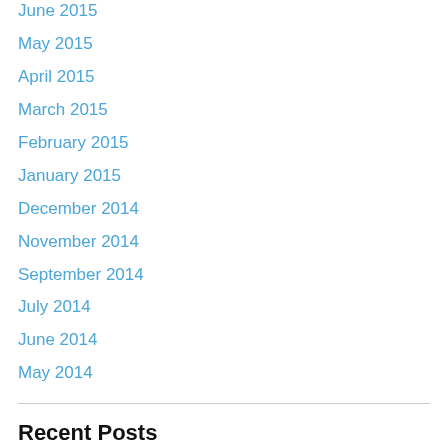June 2015
May 2015
April 2015
March 2015
February 2015
January 2015
December 2014
November 2014
September 2014
July 2014
June 2014
May 2014
Recent Posts
Team Yellow Ribbon America & Operation Christmas Brings Support To America's Quite Professionals. 🇺🇸
Team YRA & Operation Christmas visits U.S. Navy Base, Port Hueneme California. 🇺🇸
"For God, Family And Country..." 🇺🇸